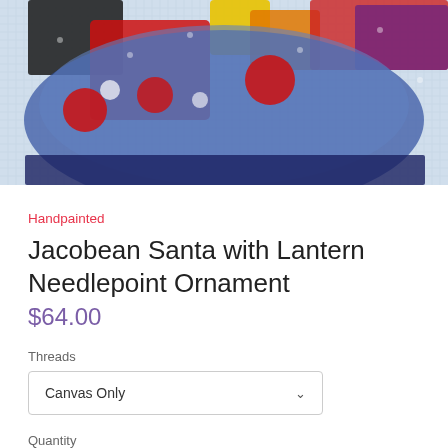[Figure (photo): Close-up photo of a cross-stitch needlepoint canvas showing a colorful Jacobean Santa with lantern ornament design on a light blue background with red, yellow, blue, black, orange, and purple stitched details]
Handpainted
Jacobean Santa with Lantern Needlepoint Ornament
$64.00
Threads
Canvas Only
Quantity
1